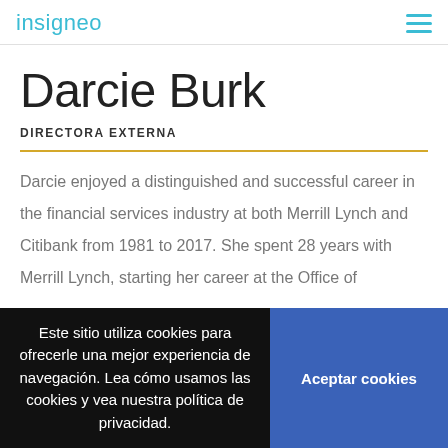insigneo
Darcie Burk
DIRECTORA EXTERNA
Darcie enjoyed a distinguished and successful career in the financial services industry at both Merrill Lynch and Citibank from 1981 to 2017. She spent 28 years with Merrill Lynch, starting her career at the Office of
Este sitio utiliza cookies para ofrecerle una mejor experiencia de navegación. Lea cómo usamos las cookies y vea nuestra política de privacidad.
Aceptar cookies